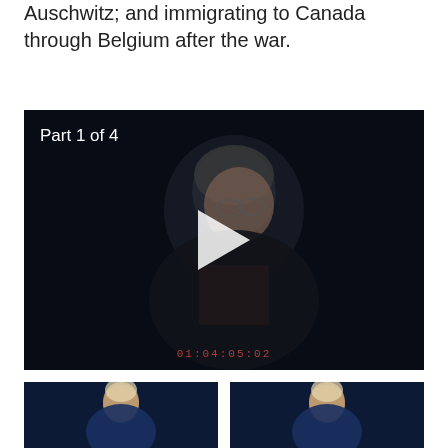Auschwitz; and immigrating to Canada through Belgium after the war.
[Figure (screenshot): Video player showing an elderly woman with grey curly hair and glasses seated against a dark background. Text overlay reads 'Part 1 of 4'. A play button triangle is centered on the video. Timecode 01:04:05:02 appears at the bottom.]
[Figure (screenshot): Two video thumbnails side by side at the bottom of the page, each showing a person against a dark blue background.]